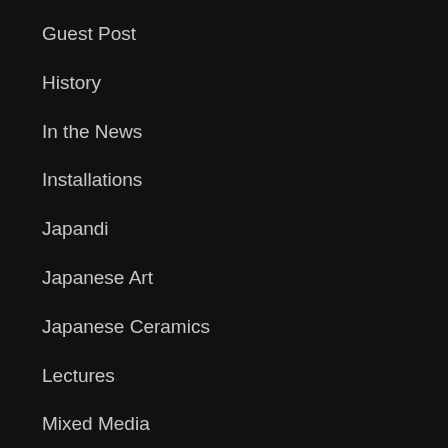Guest Post
History
In the News
Installations
Japandi
Japanese Art
Japanese Ceramics
Lectures
Mixed Media
Museums
New This Week
New York
Obituary